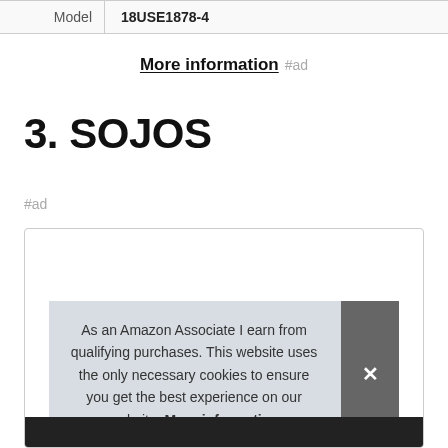|  |  |
| --- | --- |
| Model | 18USE1878-4 |
More information #ad
3. SOJOS
#ad
As an Amazon Associate I earn from qualifying purchases. This website uses the only necessary cookies to ensure you get the best experience on our website. More information
[Figure (photo): Product image strip at the bottom of a product card showing sunglasses]